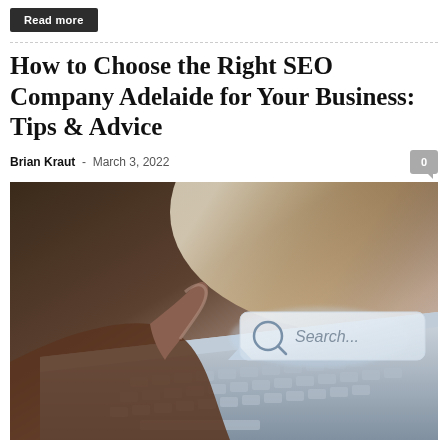Read more
How to Choose the Right SEO Company Adelaide for Your Business: Tips & Advice
Brian Kraut - March 3, 2022
[Figure (photo): Person pointing finger at a glowing search bar with 'Search...' text on a laptop keyboard, representing SEO and internet search concept]